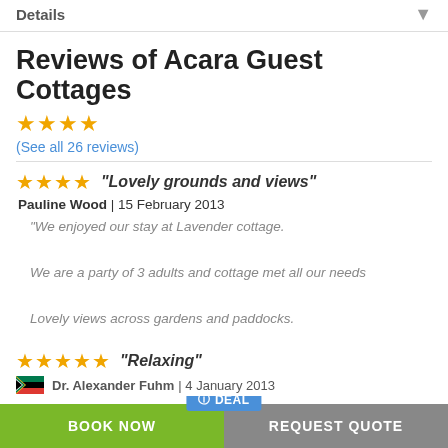Details
Reviews of Acara Guest Cottages
★★★★ (See all 26 reviews)
★★★★ "Lovely grounds and views"
Pauline Wood | 15 February 2013
"We enjoyed our stay at Lavender cottage.

We are a party of 3 adults and cottage met all our needs

Lovely views across gardens and paddocks.

Easy access to Stellenbosch and attractions of the area
DEAL  BOOK NOW  REQUEST QUOTE
★★★★★ "Relaxing"
Dr. Alexander Fuhm | 4 January 2013